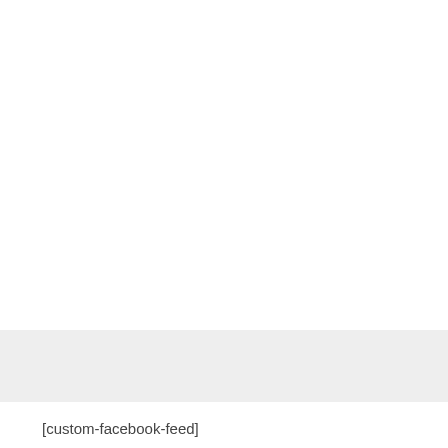[Figure (other): Light gray horizontal bar spanning the full width of the page]
[custom-facebook-feed]